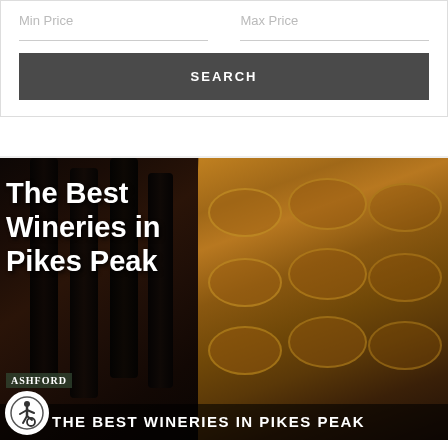Min Price
Max Price
SEARCH
[Figure (photo): Split image: left side shows dark wine bottles in a cellar, right side shows rows of golden oak wine barrels in a winery corridor. Bold white text overlays the left side reading 'The Best Wineries in Pikes Peak'. Bottom bar reads 'THE BEST WINERIES IN PIKES PEAK'. Ashford logo appears bottom left with wheelchair accessibility icon.]